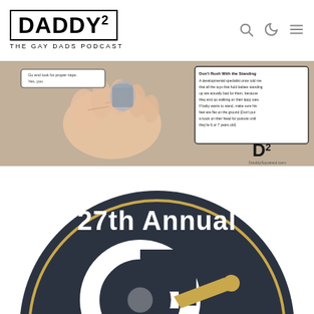[Figure (logo): DADDY squared logo with tagline THE GAY DADS PODCAST in a bordered box, with navigation icons (search, moon, hamburger) on the right]
[Figure (photo): Close-up photo of a baby's hand on carpet, with a text overlay box titled 'Don't Rush With the Standing' giving developmental advice about babies standing. A D-squared watermark and DaddySquared.com URL appear in the bottom right.]
[Figure (illustration): Dark navy circular badge with gold ring border, showing '27th Annual' text in white bold lettering at the top, and a large Grammy-style gramophone symbol in white and gold in the center.]